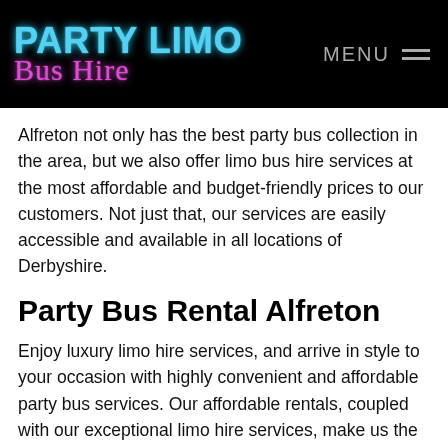PARTY LIMO Bus Hire | MENU
Alfreton not only has the best party bus collection in the area, but we also offer limo bus hire services at the most affordable and budget-friendly prices to our customers. Not just that, our services are easily accessible and available in all locations of Derbyshire.
Party Bus Rental Alfreton
Enjoy luxury limo hire services, and arrive in style to your occasion with highly convenient and affordable party bus services. Our affordable rentals, coupled with our exceptional limo hire services, make us the most sought-after company in Derbyshire.